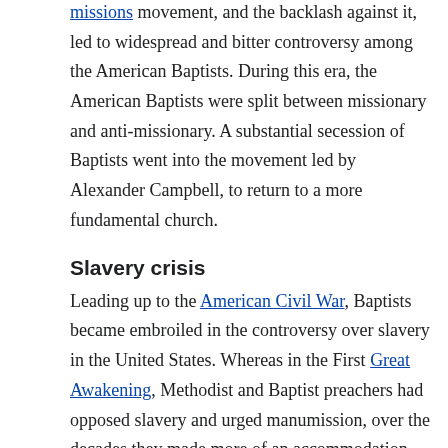missions movement, and the backlash against it, led to widespread and bitter controversy among the American Baptists. During this era, the American Baptists were split between missionary and anti-missionary. A substantial secession of Baptists went into the movement led by Alexander Campbell, to return to a more fundamental church.
Slavery crisis
Leading up to the American Civil War, Baptists became embroiled in the controversy over slavery in the United States. Whereas in the First Great Awakening, Methodist and Baptist preachers had opposed slavery and urged manumission, over the decades they made more of an accommodation with the institution. They worked with slaveholders in the South to urge a paternalistic institution. Both